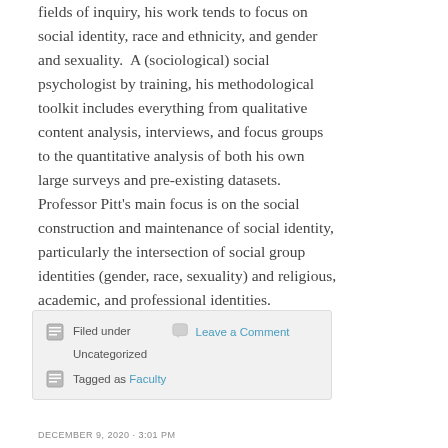fields of inquiry, his work tends to focus on social identity, race and ethnicity, and gender and sexuality.  A (sociological) social psychologist by training, his methodological toolkit includes everything from qualitative content analysis, interviews, and focus groups to the quantitative analysis of both his own large surveys and pre-existing datasets. Professor Pitt's main focus is on the social construction and maintenance of social identity, particularly the intersection of social group identities (gender, race, sexuality) and religious, academic, and professional identities.
Filed under  Leave a Comment  Uncategorized  Tagged as Faculty
DECEMBER 9, 2020 · 3:01 PM